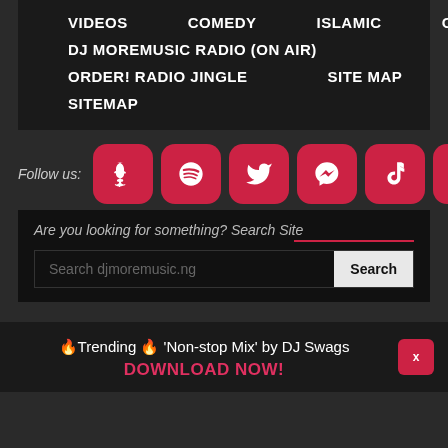VIDEOS   COMEDY   ISLAMIC   GOSPEL
DJ MOREMUSIC RADIO (ON AIR)
ORDER! RADIO JINGLE   SITE MAP
SITEMAP
Follow us:
[Figure (other): Social media icons: Snapchat, Spotify, Twitter, Messenger, TikTok, Facebook]
Are you looking for something? Search Site
Search djmoremusic.ng   Search
🔥Trending 🔥 'Non-stop Mix' by DJ Swags
DOWNLOAD NOW!